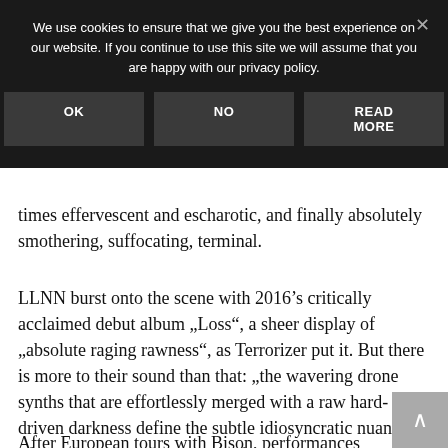We use cookies to ensure that we give you the best experience on our website. If you continue to use this site we will assume that you are happy with our privacy policy.
OK   NO   READ MORE
times effervescent and escharotic, and finally absolutely smothering, suffocating, terminal.
LLNN burst onto the scene with 2016’s critically acclaimed debut album „Loss“, a sheer display of „absolute raging rawness“, as Terrorizer put it. But there is more to their sound than that: „the wavering drone synths that are effortlessly merged with a raw hard- core-driven darkness define the subtle idiosyncratic nuances of LLNN’s very unsubtle, painfully overwhelming sound“ (The Sludgelord).
After European tours with Bison, performances at